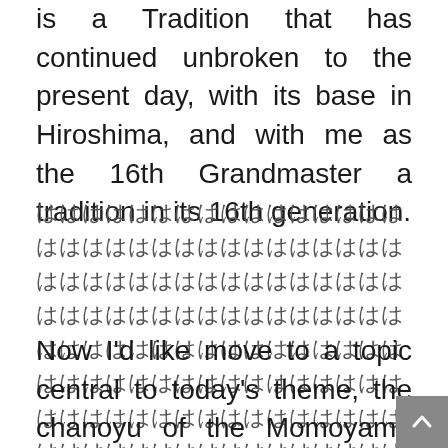is a Tradition that has continued unbroken to the present day, with its base in Hiroshima, and with me as the 16th Grandmaster a tradition in its 16th generation.
（Japanese text block — decorative/untranslated characters）
Now I'd like move to a topic central to today's theme, the chanoyu of the Momoyama Period samurai. To entertain people in a